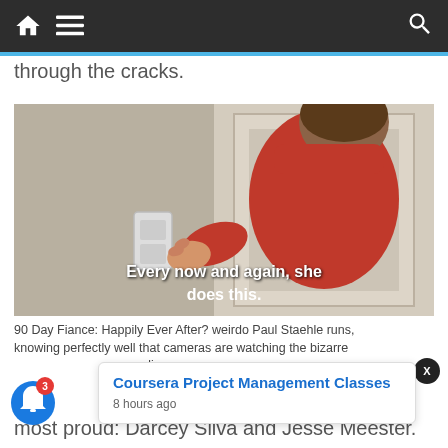Navigation bar with home, menu, and search icons
through the cracks.
[Figure (photo): A man in a red shirt leaning toward a door or wall, with subtitle text overlay reading 'Every now and again, she does this.']
90 Day Fiance: Happily Ever After? weirdo Paul Staehle runs, knowing perfectly well that cameras are watching the bizarre disp... well did sh...
most proud: Darcey Silva and Jesse Meester.
[Figure (screenshot): Ad popup for 'Coursera Project Management Classes', posted 8 hours ago]